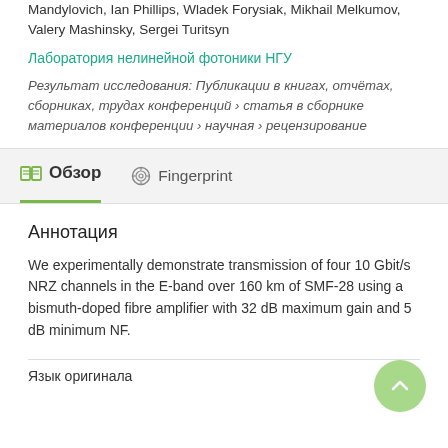Mandylovich, Ian Phillips, Wladek Forysiak, Mikhail Melkumov, Valery Mashinsky, Sergei Turitsyn
Лаборатория нелинейной фотоники НГУ
Результат исследования: Публикации в книгах, отчётах, сборниках, трудах конференций › статья в сборнике материалов конференции › научная › рецензирование
Обзор
Fingerprint
Аннотация
We experimentally demonstrate transmission of four 10 Gbit/s NRZ channels in the E-band over 160 km of SMF-28 using a bismuth-doped fibre amplifier with 32 dB maximum gain and 5 dB minimum NF.
Язык оригинала